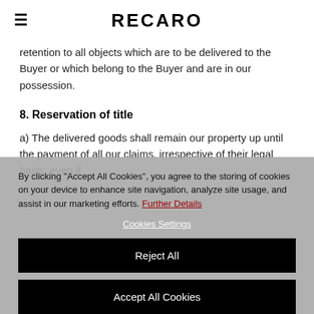RECARO
retention to all objects which are to be delivered to the Buyer or which belong to the Buyer and are in our possession.
8. Reservation of title
a) The delivered goods shall remain our property up until the payment of all our claims, irrespective of their legal basis, even if
By clicking "Accept All Cookies", you agree to the storing of cookies on your device to enhance site navigation, analyze site usage, and assist in our marketing efforts. Further Details
Cookies Settings
Reject All
Accept All Cookies